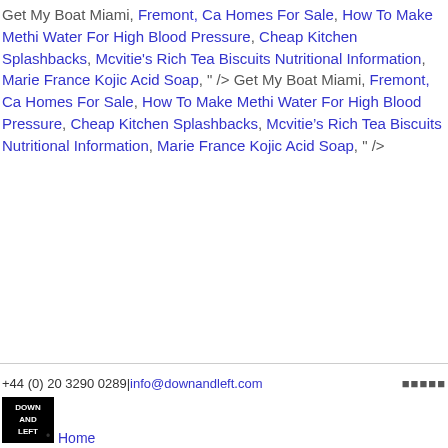Get My Boat Miami, Fremont, Ca Homes For Sale, How To Make Methi Water For High Blood Pressure, Cheap Kitchen Splashbacks, Mcvitie's Rich Tea Biscuits Nutritional Information, Marie France Kojic Acid Soap, " /> Get My Boat Miami, Fremont, Ca Homes For Sale, How To Make Methi Water For High Blood Pressure, Cheap Kitchen Splashbacks, Mcvitie’s Rich Tea Biscuits Nutritional Information, Marie France Kojic Acid Soap, " />
+44 (0) 20 3290 0289|info@downandleft.com
[Figure (logo): Down And Left logo - black square with white text stacked: DOWN AND LEFT]
Home